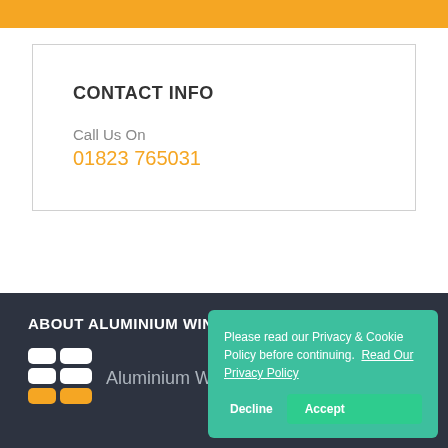CONTACT INFO
Call Us On
01823 765031
ABOUT ALUMINIUM WINDOWS SOMERSET
[Figure (logo): Aluminium Windows Somerset logo — grid of squares with yellow and white coloring]
Aluminium W... Som...
Please read our Privacy & Cookie Policy before continuing.  Read Our Privacy Policy
Decline
Accept